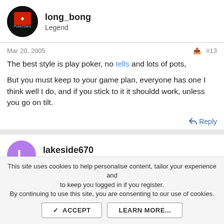long_bong
Legend
Mar 20, 2005   #13
The best style is play poker, no tells and lots of pots,

But you must keep to your game plan, everyone has one I think well I do, and if you stick to it it shouldd work, unless you go on tilt.
Reply
lakeside670
Guest
This site uses cookies to help personalise content, tailor your experience and to keep you logged in if you register.
By continuing to use this site, you are consenting to our use of cookies.
ACCEPT   LEARN MORE...